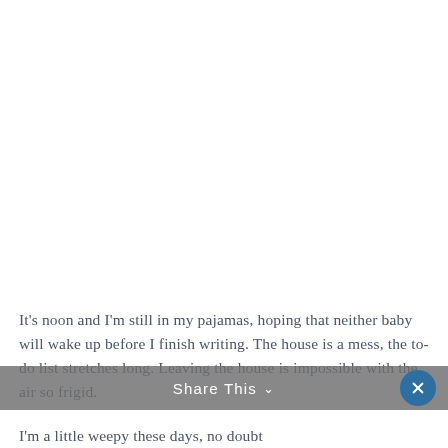It's noon and I'm still in my pajamas, hoping that neither baby will wake up before I finish writing. The house is a mess, the to-do list stretches long. Leaving the house is impossible with the air so frigid.
Share This ∨
I'm a little weepy these days, no doubt